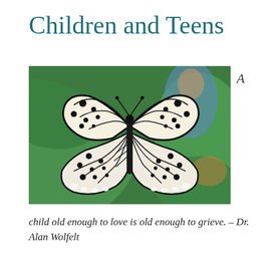Children and Teens
[Figure (photo): A black and white butterfly (paper kite / rice paper butterfly) resting on large green tropical leaves, with a blurred background showing a person in blue clothing.]
A
child old enough to love is old enough to grieve. – Dr. Alan Wolfelt